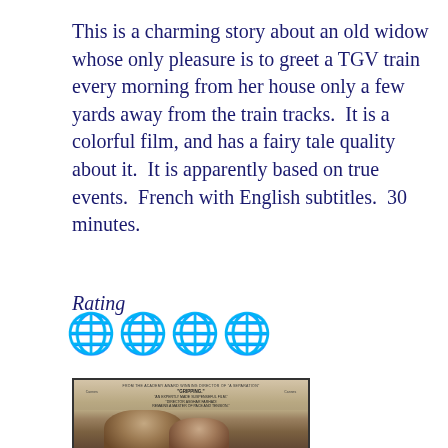This is a charming story about an old widow whose only pleasure is to greet a TGV train every morning from her house only a few yards away from the train tracks.  It is a colorful film, and has a fairy tale quality about it.  It is apparently based on true events.  French with English subtitles.  30 minutes.
Rating
[Figure (other): Four globe/world emoji icons representing a 4-globe rating]
[Figure (photo): Movie poster showing two people (a man with dark hair and beard, a woman leaning against him) with text: FROM THE ACADEMY AWARD WINNING DIRECTOR OF 'A SEPARATION', 'GRIPPING.' -Cannes-, 'AN EXPERTLY MADE SUSPENSEFUL FILM.' -Cannes-, 'DIRECTOR ASGHAR FARHADI REMAINS A MASTER OF PACE AND TENSION.']